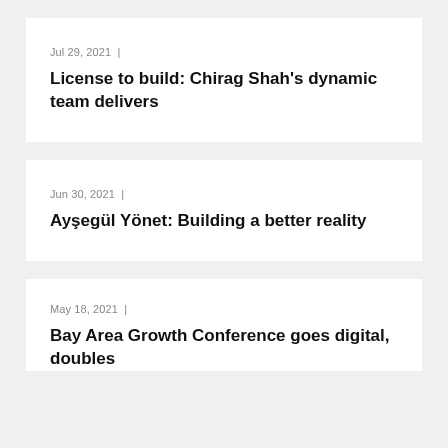Jul 29, 2021 |
License to build: Chirag Shah’s dynamic team delivers
Jun 30, 2021 |
Ayşegül Yönet: Building a better reality
May 18, 2021 |
Bay Area Growth Conference goes digital, doubles